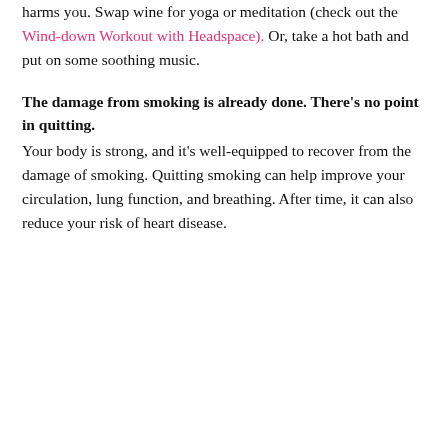harms you. Swap wine for yoga or meditation (check out the Wind-down Workout with Headspace). Or, take a hot bath and put on some soothing music.
The damage from smoking is already done. There's no point in quitting.
Your body is strong, and it's well-equipped to recover from the damage of smoking. Quitting smoking can help improve your circulation, lung function, and breathing. After time, it can also reduce your risk of heart disease.